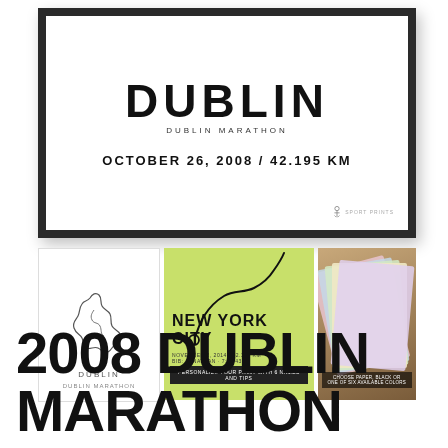[Figure (illustration): Framed marathon poster for Dublin Marathon, October 26 2008, 42.195 KM, with large bold DUBLIN text and subtitle DUBLIN MARATHON]
[Figure (illustration): Small white poster showing Dublin marathon route outline map with DUBLIN label]
[Figure (illustration): Green background NYC marathon poster with route line and NEW YORK CITY text, personalization CTA]
[Figure (photo): Photo of multiple color paper prints fanned out on wooden surface with color choice overlay text]
2008 DUBLIN MARATHON